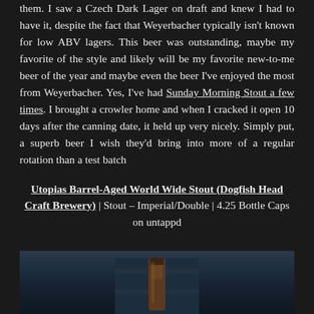them. I saw a Czech Dark Lager on draft and knew I had to have it, despite the fact that Weyerbacher typically isn't known for low ABV lagers. This beer was outstanding, maybe my favorite of the style and likely will be my favorite new-to-me beer of the year and maybe even the beer I've enjoyed the most from Weyerbacher. Yes, I've had Sunday Morning Stout a few times. I brought a crowler home and when I cracked it open 10 days after the canning date, it held up very nicely. Simply put, a superb beer I wish they'd bring into more of a regular rotation than a test batch
Utopias Barrel-Aged World Wide Stout (Dogfish Head Craft Brewery) | Stout – Imperial/Double | 4.25 Bottle Caps on untappd
[Figure (photo): Photo of an amber/brown glass bottle with a narrow neck against a dark blue background, photographed from below showing the bottle neck and cap area.]